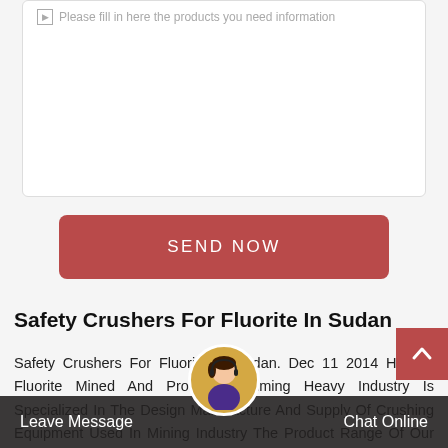[Figure (screenshot): Form text area with placeholder text 'Please fill in here the products you need information']
[Figure (screenshot): Red 'SEND NOW' button]
Safety Crushers For Fluorite In Sudan
Safety Crushers For Fluorite In Sudan. Dec 11 2014 How Is Fluorite Mined And Processed Liming Heavy Industry Is Specialized In The Design Manufacture And Supply Of Crushing Equipment Used In Mining Industry The Product Range Of Our Company Includes Mobile Crushing Plant Jaw Crusher Cone Crusher Impact Crusher Milling
[Figure (photo): Chat support avatar - woman with headset]
Leave Message   Chat Online